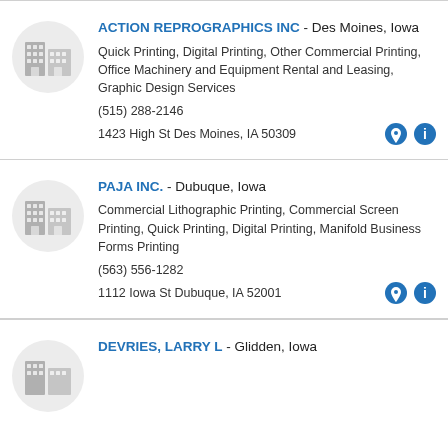ACTION REPROGRAPHICS INC - Des Moines, Iowa
Quick Printing, Digital Printing, Other Commercial Printing, Office Machinery and Equipment Rental and Leasing, Graphic Design Services
(515) 288-2146
1423 High St Des Moines, IA 50309
PAJA INC. - Dubuque, Iowa
Commercial Lithographic Printing, Commercial Screen Printing, Quick Printing, Digital Printing, Manifold Business Forms Printing
(563) 556-1282
1112 Iowa St Dubuque, IA 52001
DEVRIES, LARRY L - Glidden, Iowa